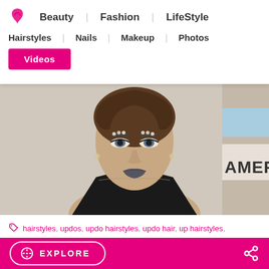Beauty | Fashion | LifeStyle | Hairstyles | Nails | Makeup | Photos | Videos
[Figure (photo): Celebrity woman with metallic jeweled eyebrows, dark lipstick, wearing a black halter top, at what appears to be the American Music Awards (partial 'AMER' sign visible in background)]
hairstyles, updos, updo hairstyles, updo hair, up hairstyles, updos 2013, crazy updo hairstyles
EXPLORE  [share icon]